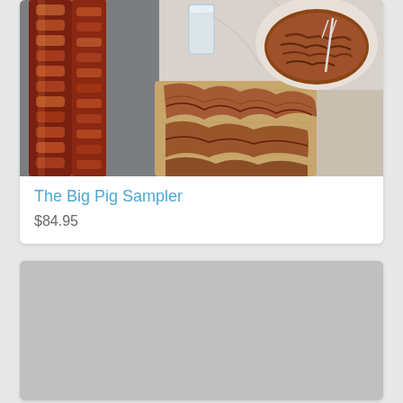[Figure (photo): BBQ food sampler photo showing ribs, bacon strips on a wooden board, and a bowl of pulled pork with a fork, on a marble surface]
The Big Pig Sampler
$84.95
[Figure (photo): Gray placeholder image for a second product card, partially visible at bottom of page]